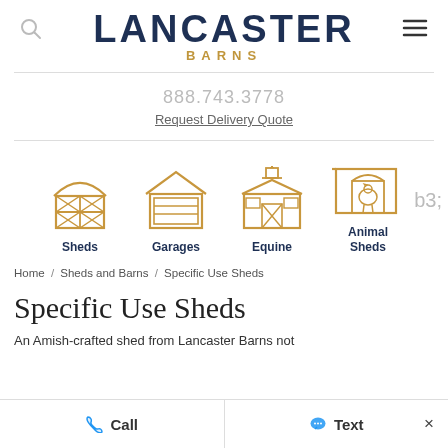LANCASTER BARNS
888.743.3778
Request Delivery Quote
[Figure (illustration): Navigation icons for Sheds, Garages, Equine, and Animal Sheds categories, each with a gold outline building icon and dark blue label text]
Home / Sheds and Barns / Specific Use Sheds
Specific Use Sheds
An Amish-crafted shed from Lancaster Barns not
Call   Text